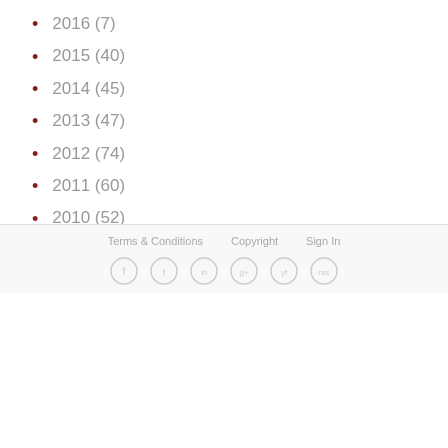2016 (7)
2015 (40)
2014 (45)
2013 (47)
2012 (74)
2011 (60)
2010 (52)
2009 (51)
Terms & Conditions   Copyright   Sign In